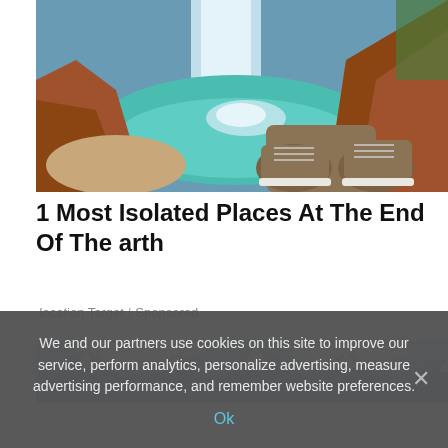[Figure (photo): Aerial view of a waterfall and turquoise pool with a person's hiking boots visible at the edge of a red rock cliff]
1 Most Isolated Places At The End Of The arth
·location Target | Sponsored
[Figure (photo): Snow-capped mountain range under a blue sky with white clouds]
We and our partners use cookies on this site to improve our service, perform analytics, personalize advertising, measure advertising performance, and remember website preferences.
Ok